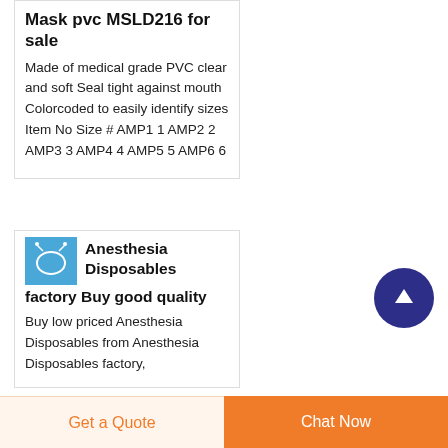Mask pvc MSLD216 for sale
Made of medical grade PVC clear and soft Seal tight against mouth Colorcoded to easily identify sizes Item No Size # AMP1 1 AMP2 2 AMP3 3 AMP4 4 AMP5 5 AMP6 6
[Figure (photo): Small product thumbnail showing anesthesia mask on blue background]
Anesthesia Disposables factory Buy good quality
Buy low priced Anesthesia Disposables from Anesthesia Disposables factory,
[Figure (other): Scroll to top button — dark blue circle with white upward arrow]